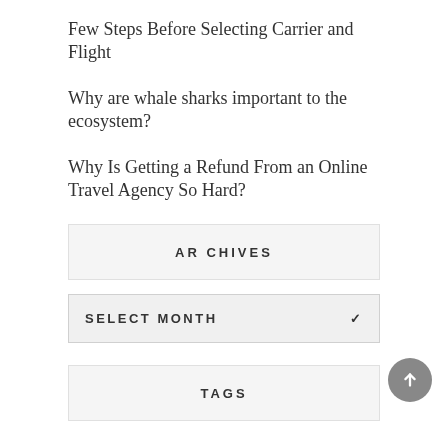Few Steps Before Selecting Carrier and Flight
Why are whale sharks important to the ecosystem?
Why Is Getting a Refund From an Online Travel Agency So Hard?
ARCHIVES
SELECT MONTH
TAGS